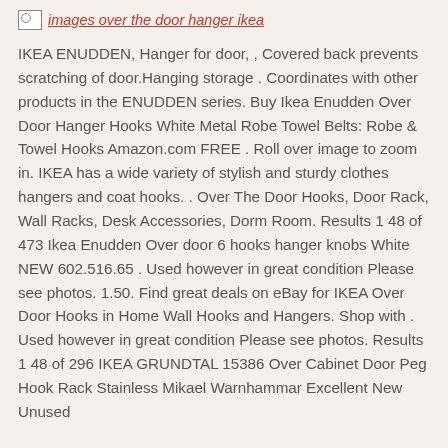[Figure (photo): Broken image placeholder with red italic text label reading 'images over the door hanger ikea']
IKEA ENUDDEN, Hanger for door, , Covered back prevents scratching of door.Hanging storage . Coordinates with other products in the ENUDDEN series. Buy Ikea Enudden Over Door Hanger Hooks White Metal Robe Towel Belts: Robe & Towel Hooks Amazon.com FREE . Roll over image to zoom in. IKEA has a wide variety of stylish and sturdy clothes hangers and coat hooks. . Over The Door Hooks, Door Rack, Wall Racks, Desk Accessories, Dorm Room. Results 1 48 of 473 Ikea Enudden Over door 6 hooks hanger knobs White NEW 602.516.65 . Used however in great condition Please see photos. 1.50. Find great deals on eBay for IKEA Over Door Hooks in Home Wall Hooks and Hangers. Shop with . Used however in great condition Please see photos. Results 1 48 of 296 IKEA GRUNDTAL 15386 Over Cabinet Door Peg Hook Rack Stainless Mikael Warnhammar Excellent New Unused